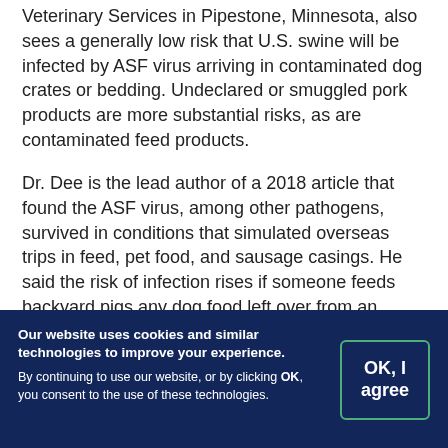Veterinary Services in Pipestone, Minnesota, also sees a generally low risk that U.S. swine will be infected by ASF virus arriving in contaminated dog crates or bedding. Undeclared or smuggled pork products are more substantial risks, as are contaminated feed products.
Dr. Dee is the lead author of a 2018 article that found the ASF virus, among other pathogens, survived in conditions that simulated overseas trips in feed, pet food, and sausage casings. He said the risk of infection rises if someone feeds backyard pigs any dog food left over from an overseas trip.
Our website uses cookies and similar technologies to improve your experience. By continuing to use our website, or by clicking OK, you consent to the use of these technologies.